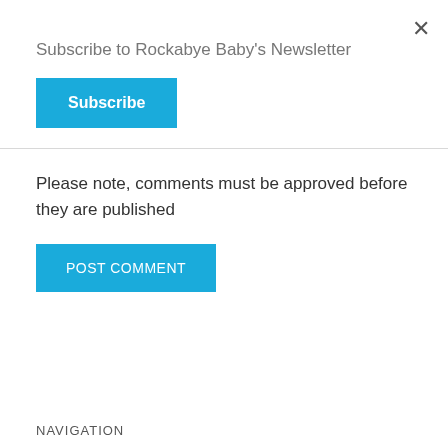×
Subscribe to Rockabye Baby's Newsletter
Subscribe
Please note, comments must be approved before they are published
POST COMMENT
NAVIGATION